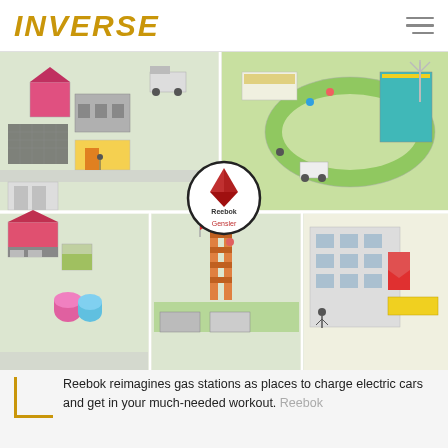INVERSE
[Figure (illustration): Illustrated overhead isometric view of a reimagined gas station / fitness center concept by Reebok and Gensler, showing buildings, a track, electric car charging areas, people exercising, and various facility zones. A circular callout in the center reads 'Reebok Gensler'. The bottom row shows close-up panels of individual facility zones.]
Reebok reimagines gas stations as places to charge electric cars and get in your much-needed workout. Reebok